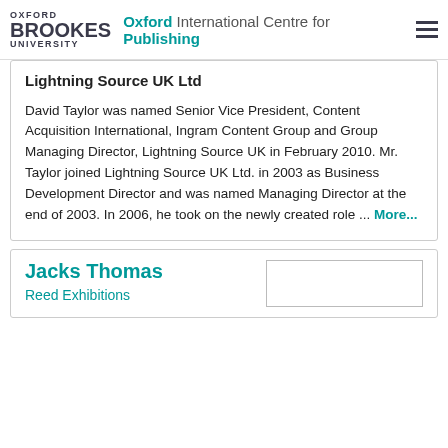Oxford Brookes University | Oxford International Centre for Publishing
Lightning Source UK Ltd
David Taylor was named Senior Vice President, Content Acquisition International, Ingram Content Group and Group Managing Director, Lightning Source UK in February 2010. Mr. Taylor joined Lightning Source UK Ltd. in 2003 as Business Development Director and was named Managing Director at the end of 2003. In 2006, he took on the newly created role ... More...
Jacks Thomas
Reed Exhibitions